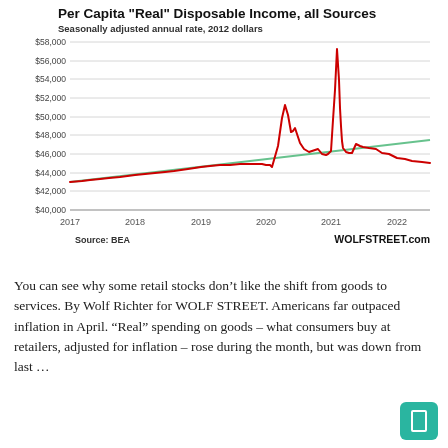[Figure (continuous-plot): Line chart showing Per Capita Real Disposable Income (seasonally adjusted annual rate, 2012 dollars) from 2017 to 2022. A red line shows actual values ranging ~$43,000 in 2017, rising gradually to ~$45,000 pre-2020, then spiking to ~$51,700 in mid-2020, dropping, spiking again to ~$57,800 in early 2021, then declining to ~$45,500 by 2022. A green trend line rises gradually from ~$43,000 to ~$47,500.]
You can see why some retail stocks don’t like the shift from goods to services. By Wolf Richter for WOLF STREET. Americans far outpaced inflation in April. “Real” spending on goods – what consumers buy at retailers, adjusted for inflation – rose during the month, but was down from last …